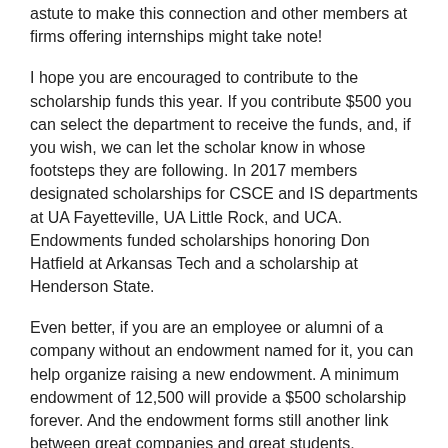astute to make this connection and other members at firms offering internships might take note!
I hope you are encouraged to contribute to the scholarship funds this year. If you contribute $500 you can select the department to receive the funds, and, if you wish, we can let the scholar know in whose footsteps they are following. In 2017 members designated scholarships for CSCE and IS departments at UA Fayetteville, UA Little Rock, and UCA. Endowments funded scholarships honoring Don Hatfield at Arkansas Tech and a scholarship at Henderson State.
Even better, if you are an employee or alumni of a company without an endowment named for it, you can help organize raising a new endowment. A minimum endowment of 12,500 will provide a $500 scholarship forever. And the endowment forms still another link between great companies and great students.
In a later note, I will report other things I have learned from visiting our university partners, including ways we can help smooth the path for students to careers.
Celebrating Arkansas Computing,